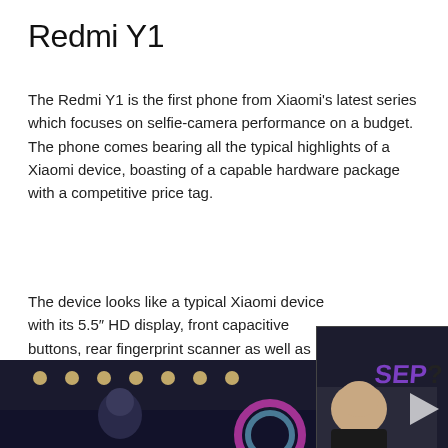Redmi Y1
The Redmi Y1 is the first phone from Xiaomi's latest series which focuses on selfie-camera performance on a budget. The phone comes bearing all the typical highlights of a Xiaomi device, boasting of a capable hardware package with a competitive price tag.
The device looks like a typical Xiaomi device with its 5.5″ HD display, front capacitive buttons, rear fingerprint scanner as well as overall product design. There are no particular risks on the device — that's understandable keeping in mind the target audience.
[Figure (screenshot): A video thumbnail overlay showing a man with text SEP and DAILY, with a purple smartphone beside him]
[Figure (photo): Bottom portion of a photo showing a Xiaomi store or event with overhead lights and a colorful ring light element]